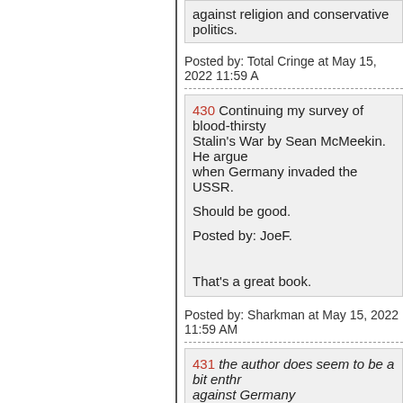against religion and conservative politics.
Posted by: Total Cringe at May 15, 2022 11:59 A
430 Continuing my survey of blood-thirsty... Stalin's War by Sean McMeekin. He argue... when Germany invaded the USSR.

Should be good.

Posted by: JoeF.

That's a great book.
Posted by: Sharkman at May 15, 2022 11:59 AM
431 the author does seem to be a bit enthr... against Germany

Really when you look at how the Soviets ... ghastly meat grinder of soviet subjects thr... fat, comfortable, and corrupt asses withou... tactics. Both the Soviets and Germans we...